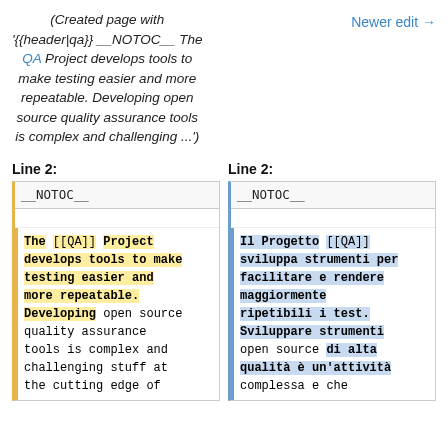(Created page with '{{header|qa}} __NOTOC__ The QA Project develops tools to make testing easier and more repeatable. Developing open source quality assurance tools is complex and challenging ...')
Newer edit →
Line 2:
Line 2:
| __NOTOC__ |
|  |
| __NOTOC__ |
|  |
The [[QA]] Project develops tools to make testing easier and more repeatable. Developing open source quality assurance tools is complex and challenging stuff at the cutting edge of
Il Progetto [[QA]] sviluppa strumenti per facilitare e rendere maggiormente ripetibili i test. Sviluppare strumenti open source di alta qualità è un'attività complessa e che